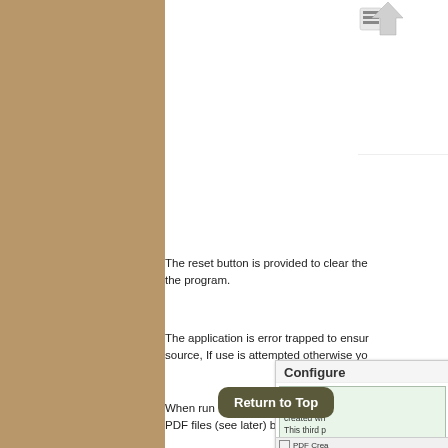[Figure (screenshot): Partial screenshot of a software application interface showing toolbar icons in upper right area]
The reset button is provided to clear the the program.
The application is error trapped to ensure source, If use is attempted otherwise yo
When run for the first time, the following PDF files (see later) but it requires the u
[Figure (screenshot): Configure dialog panel showing Config Info section with text about add-in, PDF Creator checkbox, and a Return to Top button overlay]